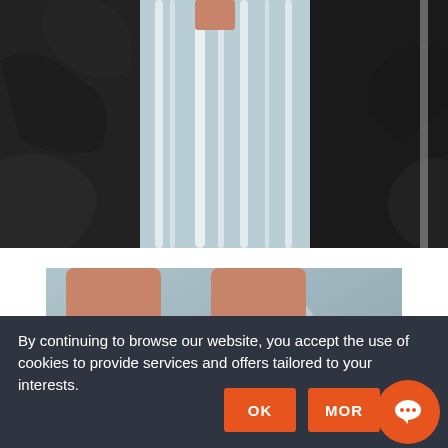[Figure (photo): Waterfall cascading over dark rocks, close-up outdoor nature scene]
[Figure (photo): Close-up of a person wearing hiking boots and dark socks, standing near a rocky stream]
By continuing to browse our website, you accept the use of cookies to provide services and offers tailored to your interests.